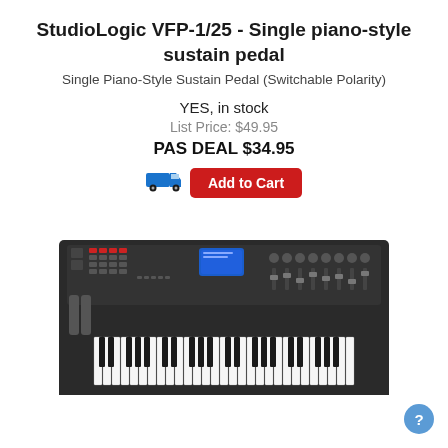StudioLogic VFP-1/25 - Single piano-style sustain pedal
Single Piano-Style Sustain Pedal (Switchable Polarity)
YES, in stock
List Price: $49.95
PAS DEAL $34.95
[Figure (screenshot): Add to Cart button with truck/shipping icon in blue, button background red with white text 'Add to Cart']
[Figure (photo): Photo of a MIDI keyboard controller (dark grey/black) with many keys, pads, knobs, and a blue display screen. Appears to be a full-size MIDI controller keyboard.]
[Figure (other): Blue circular help/question mark button in bottom right corner]